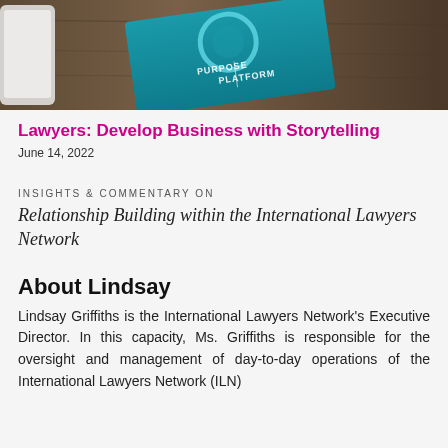[Figure (photo): Photo of a teal book or card with the word PURPOSE and PLATFORM visible, resting on a wooden surface, with part of a white device visible on the left.]
Lawyers: Develop Business with Storytelling
June 14, 2022
INSIGHTS & COMMENTARY ON
Relationship Building within the International Lawyers Network
About Lindsay
Lindsay Griffiths is the International Lawyers Network's Executive Director. In this capacity, Ms. Griffiths is responsible for the oversight and management of day-to-day operations of the International Lawyers Network (ILN)